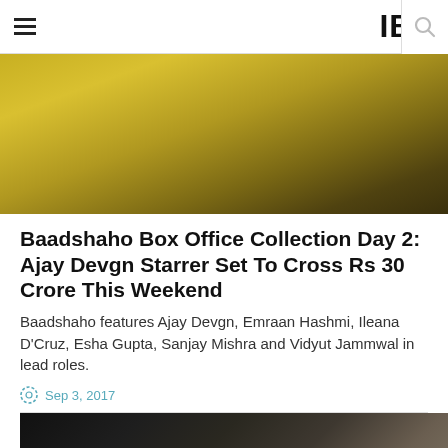IBT
[Figure (photo): Blurred golden/olive-toned image, partially visible at top of page, likely movie still or promotional image for Baadshaho]
Baadshaho Box Office Collection Day 2: Ajay Devgn Starrer Set To Cross Rs 30 Crore This Weekend
Baadshaho features Ajay Devgn, Emraan Hashmi, Ileana D'Cruz, Esha Gupta, Sanjay Mishra and Vidyut Jammwal in lead roles.
Sep 3, 2017
[Figure (photo): Blurred dark image, partially visible at bottom of page, likely movie still for Baadshaho]